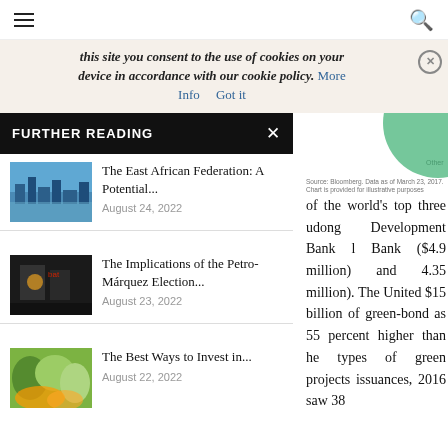≡  🔍
this site you consent to the use of cookies on your device in accordance with our cookie policy.  More Info   Got it
FURTHER READING
[Figure (photo): Cityscape aerial view of African city skyline near water]
The East African Federation: A Potential...
August 24, 2022
[Figure (photo): Two people at a conference with microphones and bat logo visible]
The Implications of the Petro-Márquez Election...
August 23, 2022
[Figure (photo): Colorful plant leaves and foliage]
The Best Ways to Invest in...
August 22, 2022
Source: Bloomberg. Data as of March 23, 2017. Chart is provided for illustrative purposes
of the world's top three udong Development Bank l Bank ($4.9 million) and 4.35 million). The United $15 billion of green-bond as 55 percent higher than he types of green projects issuances, 2016 saw 38